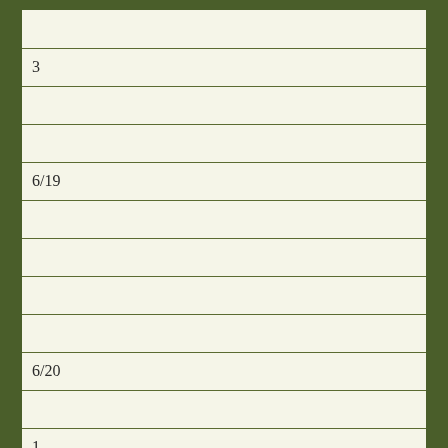|  |
| 3 |
|  |
|  |
| 6/19 |
|  |
|  |
|  |
|  |
| 6/20 |
|  |
| 1 |
|  |
|  |